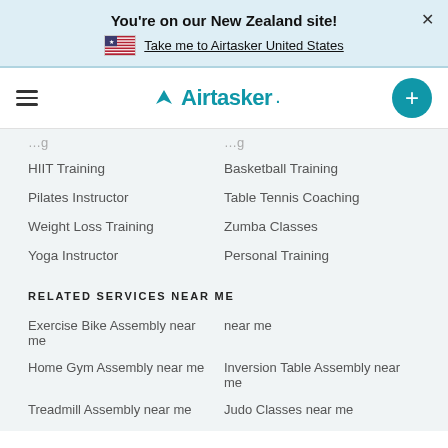You're on our New Zealand site!
Take me to Airtasker United States
[Figure (logo): Airtasker logo with navigation bar including hamburger menu and plus button]
HIIT Training
Basketball Training
Pilates Instructor
Table Tennis Coaching
Weight Loss Training
Zumba Classes
Yoga Instructor
Personal Training
RELATED SERVICES NEAR ME
Exercise Bike Assembly near me
near me
Home Gym Assembly near me
Inversion Table Assembly near me
Treadmill Assembly near me
Judo Classes near me